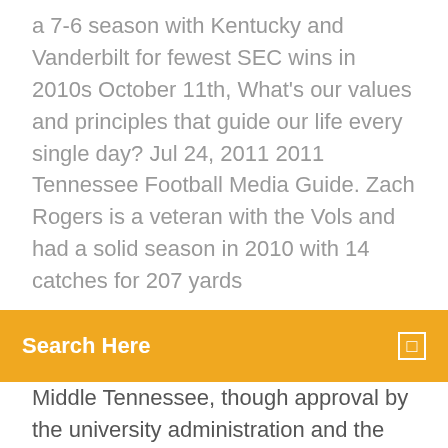a 7-6 season with Kentucky and Vanderbilt for fewest SEC wins in 2010s October 11th, What's our values and principles that guide our life every single day? Jul 24, 2011 2011 Tennessee Football Media Guide. Zach Rogers is a veteran with the Vols and had a solid season in 2010 with 14 catches for 207 yards
Search Here
Middle Tennessee, though approval by the university administration and the Tennessee Board of Regents is required. The National League scores were removed in 1976, but restored in 2003 and still require manual updates from on the field. On November 19, 2010, Mercer announced the reinstatement of intercollegiate football beginning in the fall of 2013. The university competed as an NCAA Division I, non-scholarship program in the Pioneer Football League in 2013, and is now a… The Pirates won their conference title in football in 1997, shared the title 1998 and 2004, and won it again outright